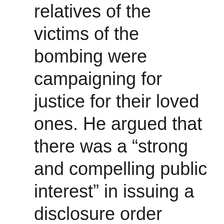relatives of the victims of the bombing were campaigning for justice for their loved ones. He argued that there was a “strong and compelling public interest” in issuing a disclosure order because of the gravity of the case.